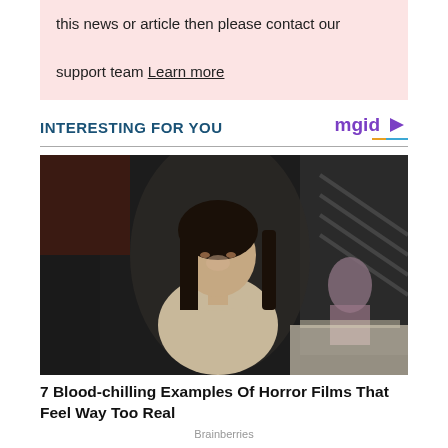this news or article then please contact our support team Learn more
INTERESTING FOR YOU
[Figure (photo): A young Asian woman in a light-colored top sitting in what appears to be a restaurant or dining setting, looking directly at the camera. Another person is visible in the background.]
7 Blood-chilling Examples Of Horror Films That Feel Way Too Real
Brainberries